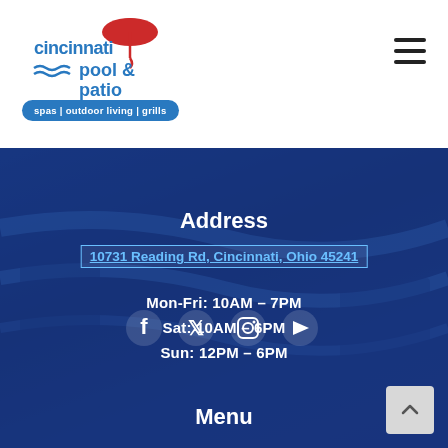[Figure (logo): Cincinnati Pool & Patio logo with red umbrella icon and blue wave/pool design, text reading 'cincinnati pool & patio']
spas | outdoor living | grills
[Figure (illustration): Hamburger menu icon (three horizontal lines) in dark color]
[Figure (illustration): Social media icons row: Facebook, Twitter, Instagram, YouTube on dark blue background with pool/outdoor photo]
Address
10731 Reading Rd, Cincinnati, Ohio 45241
Mon-Fri: 10AM – 7PM
Sat: 10AM – 6PM
Sun: 12PM – 6PM
Menu